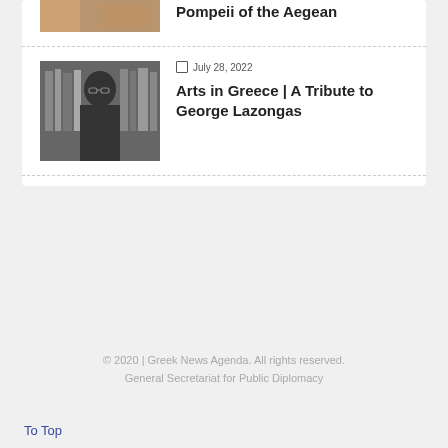Pompeii of the Aegean
[Figure (photo): Colored archaeological or artwork image, partially visible at top]
[Figure (photo): Black and white portrait photo of a man with glasses against a bookshelf]
July 28, 2022
Arts in Greece | A Tribute to George Lazongas
© 2020 | Greek News Agenda. All rights reserved.
General Secretariat for Public Diplomacy
To Top